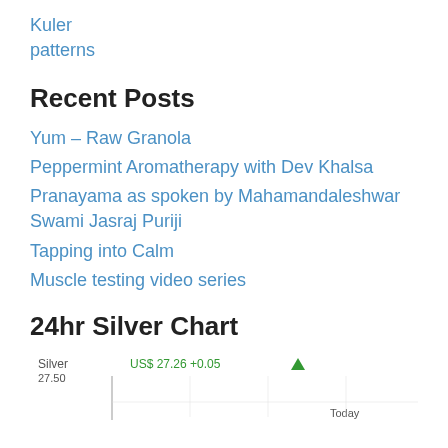Kuler
patterns
Recent Posts
Yum – Raw Granola
Peppermint Aromatherapy with Dev Khalsa
Pranayama as spoken by Mahamandaleshwar Swami Jasraj Puriji
Tapping into Calm
Muscle testing video series
24hr Silver Chart
[Figure (other): 24hr Silver Chart widget showing Silver price US$ 27.26 +0.05 with an up arrow, price label 27.50, and Today label]